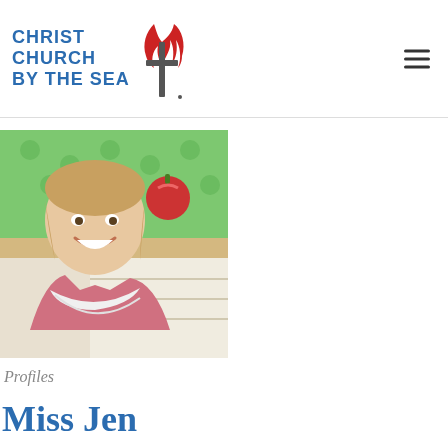[Figure (logo): Christ Church by the Sea logo with United Methodist cross and flame symbol]
[Figure (photo): Woman smiling in a classroom setting, wearing a pink cardigan and white scarf, with colorful classroom decorations including a red apple in the background]
Profiles
Miss Jen